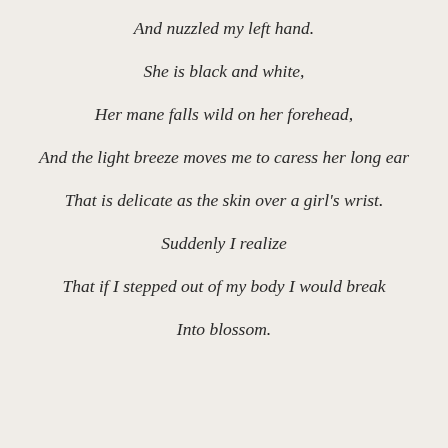And nuzzled my left hand.
She is black and white,
Her mane falls wild on her forehead,
And the light breeze moves me to caress her long ear
That is delicate as the skin over a girl's wrist.
Suddenly I realize
That if I stepped out of my body I would break
Into blossom.